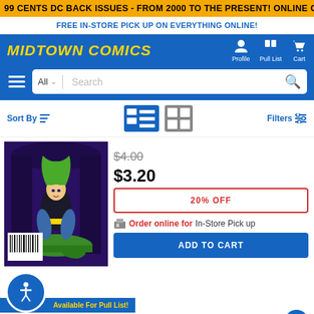99 CENTS DC BACK ISSUES - FROM 2000 TO THE PRESENT! ONLINE ONLY, TODAY ONLY!
FREE IN-STORE PICK UP ON EVERYTHING ONLINE!
[Figure (logo): Midtown Comics logo with Profile, Pull List, and Cart navigation icons]
[Figure (screenshot): Search bar with All dropdown and Search placeholder]
Sort By | view icons | Filters
[Figure (photo): Birds of Prey comic book cover showing female character in green and black costume]
$4.00 (strikethrough original price)
$3.20
20% OFF
Order online for In-Store Pick up
ADD TO CART
Available For Pull List!
Birds Of Prey Vol 3 #34